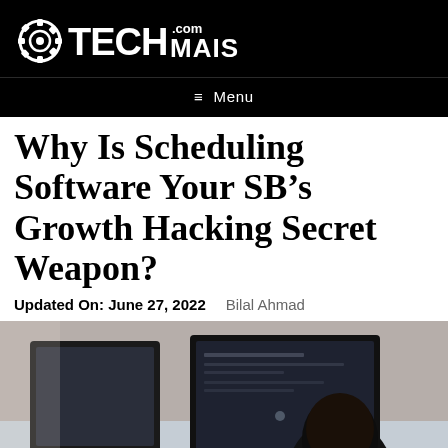TECH.com MAISH
≡ Menu
Why Is Scheduling Software Your SB's Growth Hacking Secret Weapon?
Updated On: June 27, 2022   Bilal Ahmad
[Figure (photo): Person seen from behind working at multiple computer monitors in an office setting]